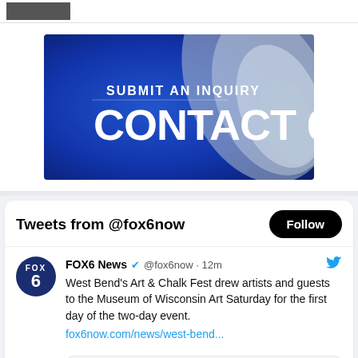[Figure (screenshot): Partial thumbnail image at top of page, dark/gray]
[Figure (illustration): FOX6 Contact 6 banner: blue gradient background with 'SUBMIT AN INQUIRY' in white and 'CONTACT 6' in large white bold text, with a silver/metallic swirl design on the right]
Tweets from @fox6now
Follow
FOX6 News @fox6now · 12m
West Bend's Art & Chalk Fest drew artists and guests to the Museum of Wisconsin Art Saturday for the first day of the two-day event.
fox6now.com/news/west-bend...